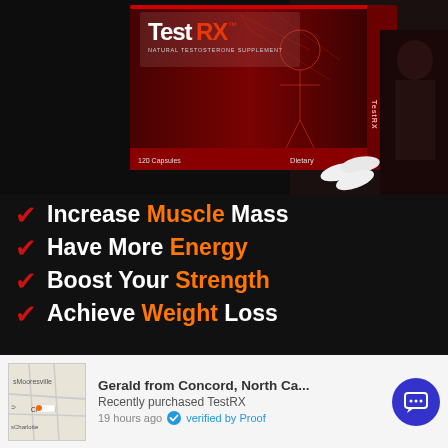[Figure (photo): TestRX Natural Testosterone Supplement product box with red design showing human figure, 120 capsules, with white supplement capsules/pills displayed in front. Dark background with person working out.]
Increase Muscle Mass
Have More Energy
Boost Your Strength
Achieve Weight Loss
Gerald from Concord, North Ca... Recently purchased TestRX 19 hours ago verified by Proof